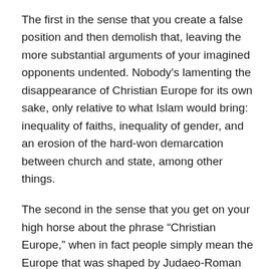The first in the sense that you create a false position and then demolish that, leaving the more substantial arguments of your imagined opponents undented. Nobody’s lamenting the disappearance of Christian Europe for its own sake, only relative to what Islam would bring: inequality of faiths, inequality of gender, and an erosion of the hard-won demarcation between church and state, among other things.
The second in the sense that you get on your high horse about the phrase “Christian Europe,” when in fact people simply mean the Europe that was shaped by Judaeo-Roman culture, the Renaissance, and, above all, the Enlightenment. The phrase isn’t literally meant to mean